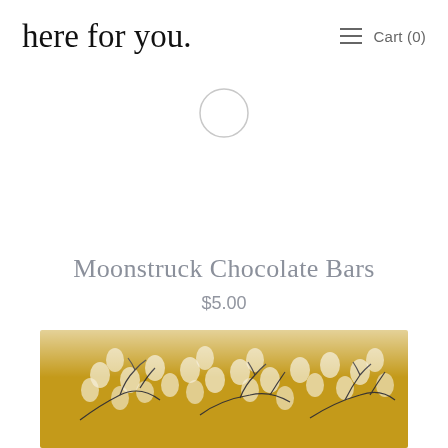here for you.   ≡   Cart (0)
[Figure (other): A circular loading spinner / empty circle outline in light gray]
Moonstruck Chocolate Bars
$5.00
[Figure (photo): Partial product photo of a chocolate bar box with a golden/mustard yellow background featuring white floral and dark branch botanical pattern]